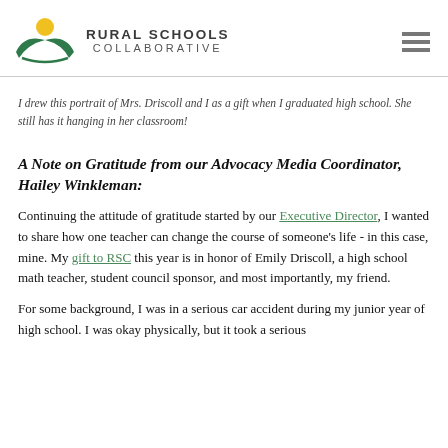RURAL SCHOOLS COLLABORATIVE
I drew this portrait of Mrs. Driscoll and I as a gift when I graduated high school. She still has it hanging in her classroom!
A Note on Gratitude from our Advocacy Media Coordinator, Hailey Winkleman:
Continuing the attitude of gratitude started by our Executive Director, I wanted to share how one teacher can change the course of someone's life - in this case, mine. My gift to RSC this year is in honor of Emily Driscoll, a high school math teacher, student council sponsor, and most importantly, my friend.
For some background, I was in a serious car accident during my junior year of high school. I was okay physically, but it took a serious